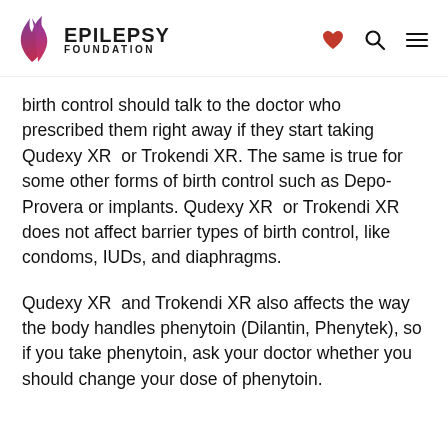EPILEPSY FOUNDATION
birth control should talk to the doctor who prescribed them right away if they start taking Qudexy XR  or Trokendi XR. The same is true for some other forms of birth control such as Depo-Provera or implants. Qudexy XR  or Trokendi XR does not affect barrier types of birth control, like condoms, IUDs, and diaphragms.
Qudexy XR  and Trokendi XR also affects the way the body handles phenytoin (Dilantin, Phenytek), so if you take phenytoin, ask your doctor whether you should change your dose of phenytoin.